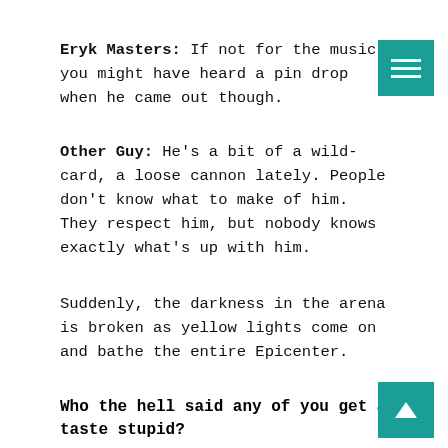Eryk Masters: If not for the music, you might have heard a pin drop when he came out though.
Other Guy: He's a bit of a wild-card, a loose cannon lately. People don't know what to make of him. They respect him, but nobody knows exactly what's up with him.
Suddenly, the darkness in the arena is broken as yellow lights come on and bathe the entire Epicenter.
Who the hell said any of you get a taste stupid?
The crowd roars as the opening lines of "Lights Out" Mindless Self Indulgence play over the arena speakers